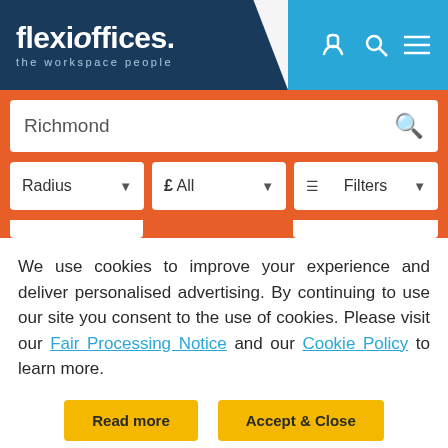[Figure (screenshot): FlexiOffices website header with logo and navigation icons]
[Figure (screenshot): Search bar showing 'Richmond' with orange background and filter dropdowns for Radius, £ All, and Filters]
We use cookies to improve your experience and deliver personalised advertising. By continuing to use our site you consent to the use of cookies. Please visit our Fair Processing Notice and our Cookie Policy to learn more.
Read more   Accept & Close
Siddeley House 50 Canbury Par...
Serviced offices from £100